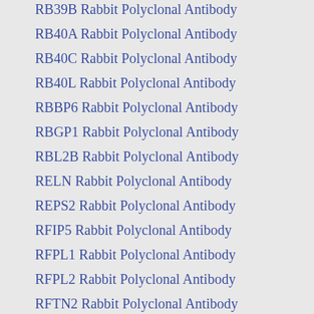RB39B Rabbit Polyclonal Antibody
RB40A Rabbit Polyclonal Antibody
RB40C Rabbit Polyclonal Antibody
RB40L Rabbit Polyclonal Antibody
RBBP6 Rabbit Polyclonal Antibody
RBGP1 Rabbit Polyclonal Antibody
RBL2B Rabbit Polyclonal Antibody
RELN Rabbit Polyclonal Antibody
REPS2 Rabbit Polyclonal Antibody
RFIP5 Rabbit Polyclonal Antibody
RFPL1 Rabbit Polyclonal Antibody
RFPL2 Rabbit Polyclonal Antibody
RFTN2 Rabbit Polyclonal Antibody